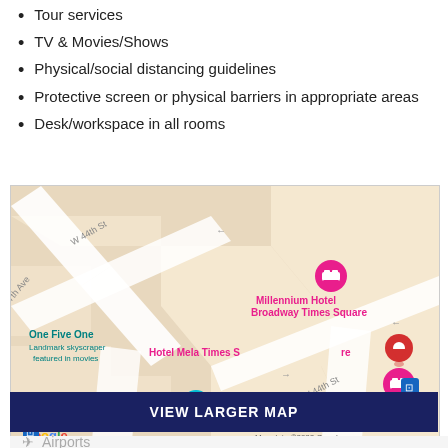Tour services
TV & Movies/Shows
Physical/social distancing guidelines
Protective screen or physical barriers in appropriate areas
Desk/workspace in all rooms
[Figure (map): Google Maps screenshot showing Millennium Hotel Broadway Times Square location near 7th Ave and W 44th St, New York. Shows Hotel Mela Times Square, One Five One (Landmark skyscraper featured in movies), The Town Hall, and various map pins.]
VIEW LARGER MAP
Airports